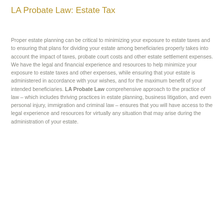LA Probate Law: Estate Tax
Proper estate planning can be critical to minimizing your exposure to estate taxes and to ensuring that plans for dividing your estate among beneficiaries properly takes into account the impact of taxes, probate court costs and other estate settlement expenses. We have the legal and financial experience and resources to help minimize your exposure to estate taxes and other expenses, while ensuring that your estate is administered in accordance with your wishes, and for the maximum benefit of your intended beneficiaries. LA Probate Law comprehensive approach to the practice of law – which includes thriving practices in estate planning, business litigation, and even personal injury, immigration and criminal law – ensures that you will have access to the legal experience and resources for virtually any situation that may arise during the administration of your estate.